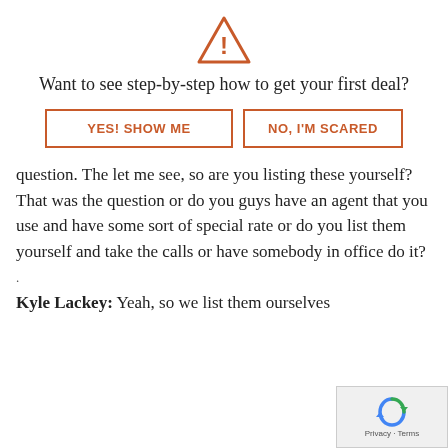[Figure (illustration): Orange warning triangle with exclamation mark icon]
Want to see step-by-step how to get your first deal?
[Figure (other): Two buttons side by side: 'YES! SHOW ME' and 'NO, I'M SCARED', both with orange border and orange text]
question. The let me see, so are you listing these yourself? That was the question or do you guys have an agent that you use and have some sort of special rate or do you list them yourself and take the calls or have somebody in office do it?
.
Kyle Lackey: Yeah, so we list them ourselves